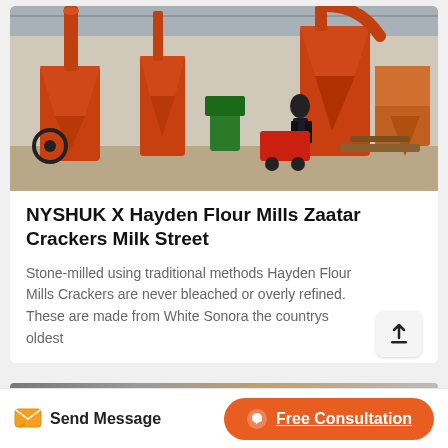[Figure (photo): Industrial flour milling machinery in a warehouse — large orange cyclone separators and milling equipment, with a person standing among the machinery]
NYSHUK X Hayden Flour Mills Zaatar Crackers Milk Street
Stone-milled using traditional methods Hayden Flour Mills Crackers are never bleached or overly refined. These are made from White Sonora the countrys oldest
[Figure (photo): Partial view of another product card image at the bottom]
Send Message
Free Consultation